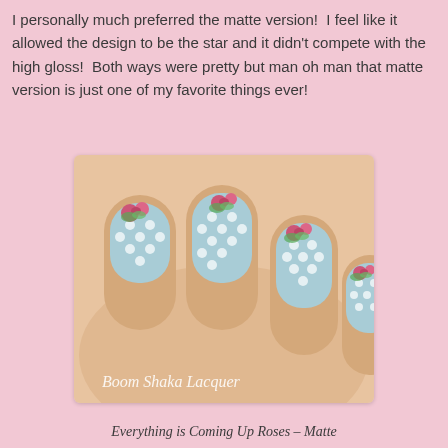I personally much preferred the matte version!  I feel like it allowed the design to be the star and it didn't compete with the high gloss!  Both ways were pretty but man oh man that matte version is just one of my favorite things ever!
[Figure (photo): Close-up photo of a hand with nail art featuring light blue nails with white polka dots and pink roses painted on them, watermarked 'Boom Shaka Lacquer']
Everything is Coming Up Roses – Matte